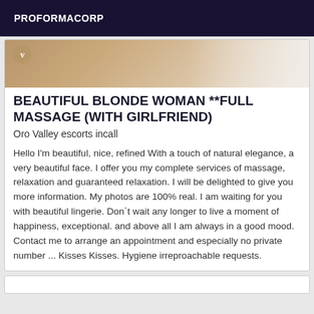PROFORMACORP
[Figure (photo): Partial photo showing a person with a circular logo/badge with letter V visible]
BEAUTIFUL BLONDE WOMAN **FULL MASSAGE (WITH GIRLFRIEND)
Oro Valley escorts incall
Hello I'm beautiful, nice, refined With a touch of natural elegance, a very beautiful face. I offer you my complete services of massage, relaxation and guaranteed relaxation. I will be delighted to give you more information. My photos are 100% real. I am waiting for you with beautiful lingerie. Don`t wait any longer to live a moment of happiness, exceptional. and above all I am always in a good mood. Contact me to arrange an appointment and especially no private number ... Kisses Kisses. Hygiene irreproachable requests.